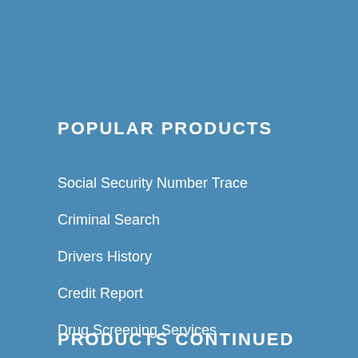POPULAR PRODUCTS
Social Security Number Trace
Criminal Search
Drivers History
Credit Report
Drug Screening Services
Employment Verification
PRODUCTS CONTINUED